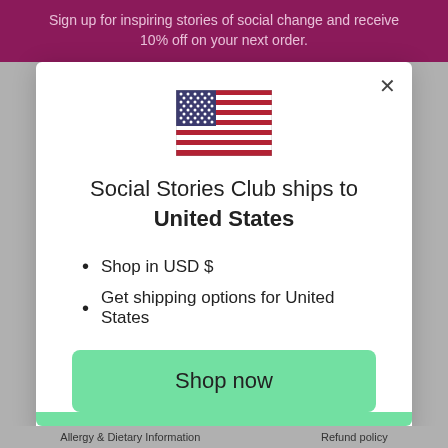Sign up for inspiring stories of social change and receive 10% off on your next order.
[Figure (illustration): US flag icon]
Social Stories Club ships to United States
Shop in USD $
Get shipping options for United States
Shop now
Change shipping country
Allergy & Dietary Information   Refund policy